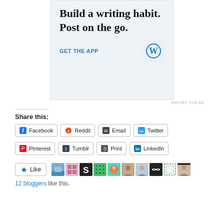[Figure (advertisement): WordPress mobile app advertisement with text 'Build a writing habit. Post on the go.' and 'GET THE APP' with WordPress icon]
REPORT THIS AD
Share this:
Facebook  Reddit  Email  Twitter  Pinterest  Tumblr  Print  LinkedIn
Like
12 bloggers like this.